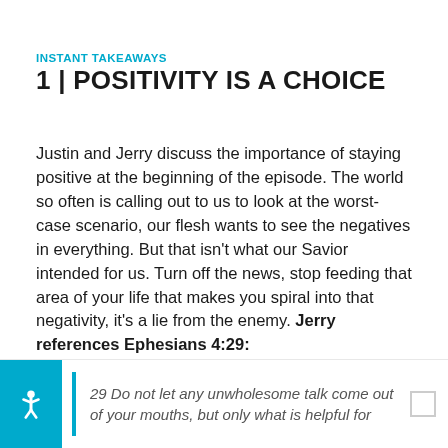INSTANT TAKEAWAYS
1 | POSITIVITY IS A CHOICE
Justin and Jerry discuss the importance of staying positive at the beginning of the episode. The world so often is calling out to us to look at the worst-case scenario, our flesh wants to see the negatives in everything. But that isn't what our Savior intended for us. Turn off the news, stop feeding that area of your life that makes you spiral into that negativity, it's a lie from the enemy. Jerry references Ephesians 4:29:
29 Do not let any unwholesome talk come out of your mouths, but only what is helpful for